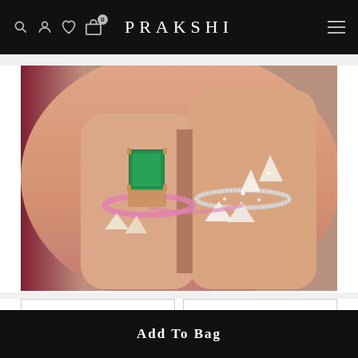PRAKSHI
[Figure (photo): Close-up photo of a hand wearing two luxury rings: one with a large square emerald stone set in rose gold with pink sapphire and diamond accents, and another with white diamonds in a geometric star/arrow design on a white gold band.]
Ask a friend
Save for later
Add To Bag